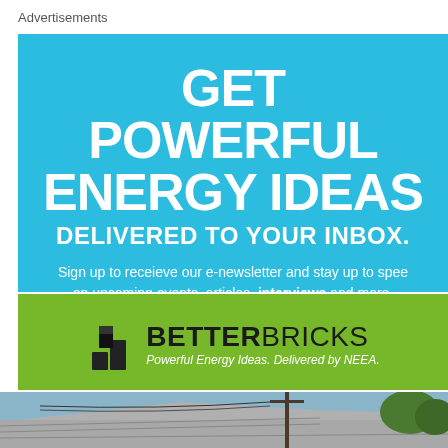Advertisements
[Figure (infographic): Blue advertisement banner for BetterBricks newsletter signup reading 'GET POWERFUL ENERGY IDEAS DELIVERED TO YOUR INBOX. Sign up to receieve our e-newsletter and stay up to speed on upcoming events, articles, interviews and more.']
[Figure (logo): BetterBricks logo on green background with tagline 'Powerful Energy Ideas. Delivered by NEEA.']
[Figure (photo): Photo advertisement showing a house roof with text 'John Yeon Plywood Ho... For Sa... $255.0...']